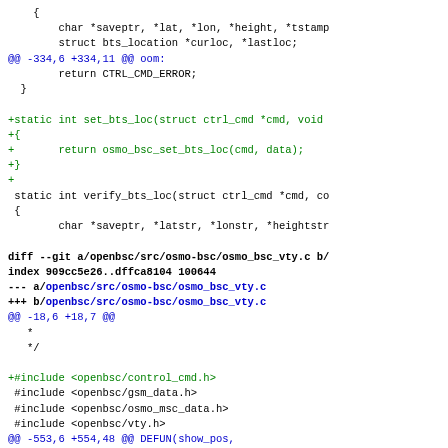Diff/patch code showing changes to bts_location and osmo_bsc_vty.c files